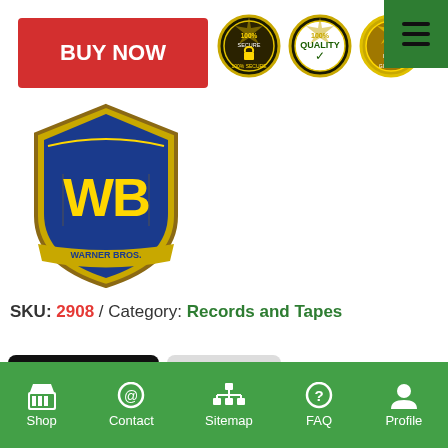[Figure (other): Red BUY NOW button]
[Figure (other): Three trust badge seals: 100% Secure, 100% Quality, 30 Days Guarantee]
[Figure (logo): Warner Bros. shield logo with WB letters in gold and blue]
SKU: 2908 /  Category: Records and Tapes
[Figure (other): DESCRIPTION tab (active, black) and BRAND tab (grey)]
ADDITIONAL INFORMATION
Shop  Contact  Sitemap  FAQ  Profile